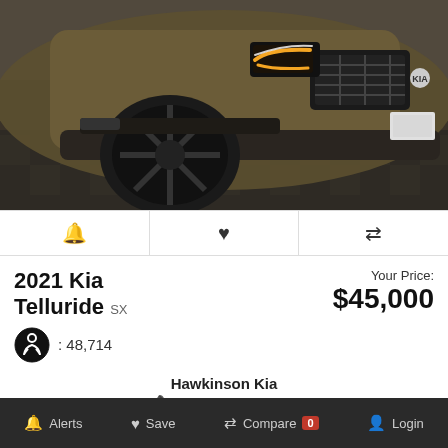[Figure (photo): Front view of a 2021 Kia Telluride SX in dark bronze/olive color with black wheels, parked on a checkered floor showroom. Headlights are on.]
🔔 ♥ ⇄ (action icons: alert, save, compare)
2021 Kia Telluride SX
Your Price: $45,000
: 48,714
Hawkinson Kia
708-367-6384
Alerts  Save  Compare 0  Login